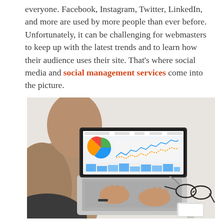everyone. Facebook, Instagram, Twitter, LinkedIn, and more are used by more people than ever before. Unfortunately, it can be challenging for webmasters to keep up with the latest trends and to learn how their audience uses their site. That's where social media and social management services come into the picture.
[Figure (photo): Overhead view of a person typing on a laptop showing an analytics dashboard with charts and graphs. A smartphone and glasses are visible on the desk beside the laptop.]